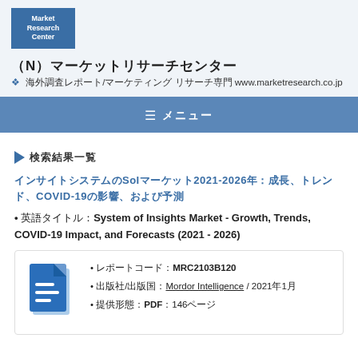[Figure (logo): Market Research Center logo — blue square with white text]
（N）マーケットリサーチセンター
❖ 海外調査レポート/マーケティング リサーチ専門 www.marketresearch.co.jp
≡ メニュー
▶ 検索結果一覧
インサイトシステムのSoIマーケット2021-2026年：成長、トレンド、COVID-19の影響、および予測
• 英語タイトル：System of Insights Market - Growth, Trends, COVID-19 Impact, and Forecasts (2021 - 2026)
レポートコード：MRC2103B120
出版社/出版国：Mordor Intelligence / 2021年1月
提供形態：PDF：146ページ